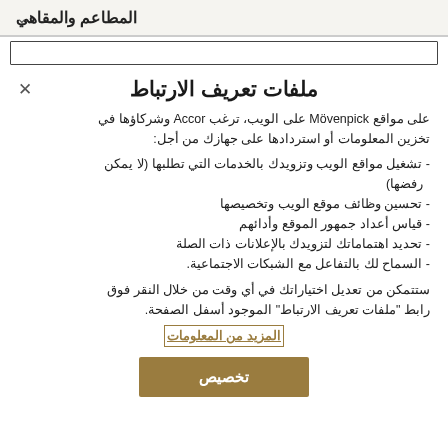المطاعم والمقاهي
ملفات تعريف الارتباط
على مواقع Mövenpick على الويب، ترغب Accor وشركاؤها في تخزين المعلومات أو استردادها على جهازك من أجل:
- تشغيل مواقع الويب وتزويدك بالخدمات التي تطلبها (لا يمكن رفضها)
- تحسين وظائف موقع الويب وتخصيصها
- قياس أعداد جمهور الموقع وأدائهم
- تحديد اهتماماتك لتزويدك بالإعلانات ذات الصلة
- السماح لك بالتفاعل مع الشبكات الاجتماعية.
ستتمكن من تعديل اختياراتك في أي وقت من خلال النقر فوق رابط "ملفات تعريف الارتباط" الموجود أسفل الصفحة.
المزيد من المعلومات